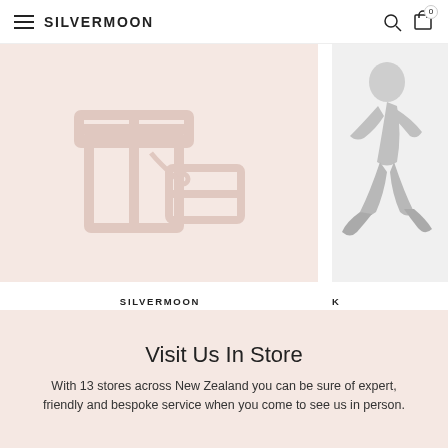SILVERMOON
[Figure (illustration): Gift wrapping illustration with gift boxes and tags on a pink/blush background]
SILVERMOON
FREE Gift Wrapping
$0.00
[Figure (photo): Partially visible silver running figure charm/pendant on white background]
K
Silver Run
Visit Us In Store
With 13 stores across New Zealand you can be sure of expert, friendly and bespoke service when you come to see us in person.